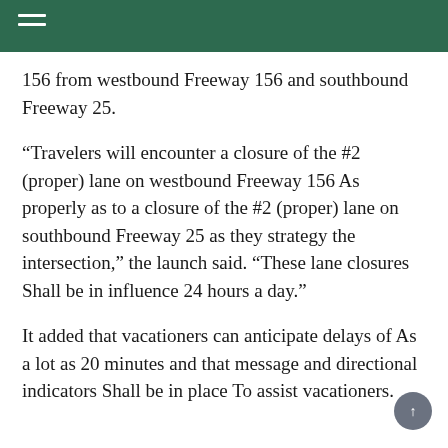156 from westbound Freeway 156 and southbound Freeway 25.
“Travelers will encounter a closure of the #2 (proper) lane on westbound Freeway 156 As properly as to a closure of the #2 (proper) lane on southbound Freeway 25 as they strategy the intersection,” the launch said. “These lane closures Shall be in influence 24 hours a day.”
It added that vacationers can anticipate delays of As a lot as 20 minutes and that message and directional indicators Shall be in place To assist vacationers.